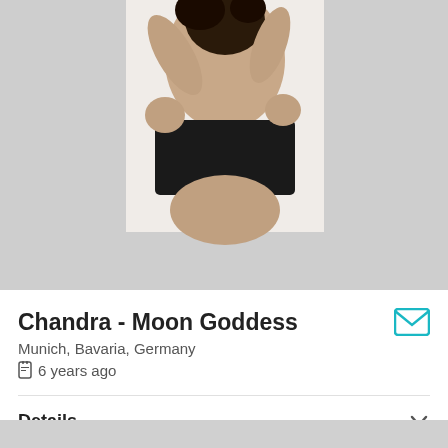[Figure (photo): Profile photo of a woman in a black strapless top, posing with arms raised, against a light background. Photo is cropped to show torso and partial head.]
Chandra - Moon Goddess
Munich, Bavaria, Germany
6 years ago
Details